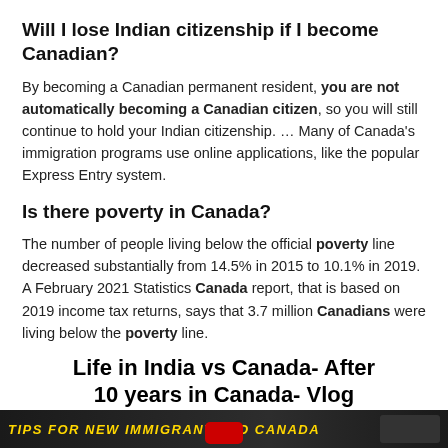Will I lose Indian citizenship if I become Canadian?
By becoming a Canadian permanent resident, you are not automatically becoming a Canadian citizen, so you will still continue to hold your Indian citizenship. … Many of Canada's immigration programs use online applications, like the popular Express Entry system.
Is there poverty in Canada?
The number of people living below the official poverty line decreased substantially from 14.5% in 2015 to 10.1% in 2019. A February 2021 Statistics Canada report, that is based on 2019 income tax returns, says that 3.7 million Canadians were living below the poverty line.
[Figure (screenshot): Video thumbnail with title 'Life in India vs Canada- After 10 years in Canada- Vlog' and a banner reading 'Tips for New Immigrants to Canada' on a dark background with a red YouTube play button visible at bottom.]